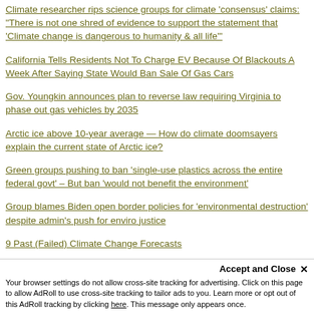Climate researcher rips science groups for climate 'consensus' claims: "There is not one shred of evidence to support the statement that 'Climate change is dangerous to humanity & all life'"
California Tells Residents Not To Charge EV Because Of Blackouts A Week After Saying State Would Ban Sale Of Gas Cars
Gov. Youngkin announces plan to reverse law requiring Virginia to phase out gas vehicles by 2035
Arctic ice above 10-year average — How do climate doomsayers explain the current state of Arctic ice?
Green groups pushing to ban 'single-use plastics across the entire federal govt' – But ban 'would not benefit the environment'
Group blames Biden open border policies for 'environmental destruction' despite admin's push for enviro justice
9 Past (Failed) Climate Change Forecasts
Listen: Morano on why California may look like Cuba after banning sale of gas powered cars in 2035
Accept and Close ✕
Your browser settings do not allow cross-site tracking for advertising. Click on this page to allow AdRoll to use cross-site tracking to tailor ads to you. Learn more or opt out of this AdRoll tracking by clicking here. This message only appears once.